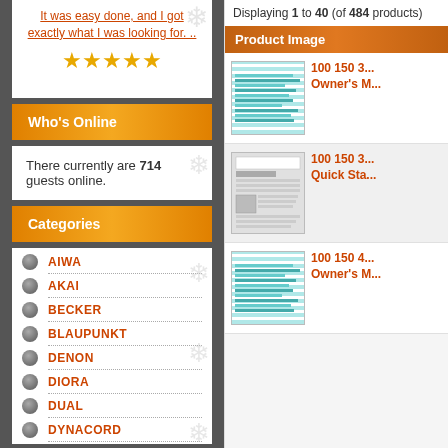It was easy done, and I got exactly what I was looking for. ..
[Figure (other): 5 gold star rating]
Who's Online
There currently are 714 guests online.
Categories
AIWA
AKAI
BECKER
BLAUPUNKT
DENON
DIORA
DUAL
DYNACORD
Displaying 1 to 40 (of 484 products)
Product Image
[Figure (screenshot): Product thumbnail for 100 150 3x - Owner's Manual]
100 150 3... Owner's M...
[Figure (screenshot): Product thumbnail for 100 150 3x - Quick Start]
100 150 3... Quick Sta...
[Figure (screenshot): Product thumbnail for 100 150 4x - Owner's Manual]
100 150 4... Owner's M...